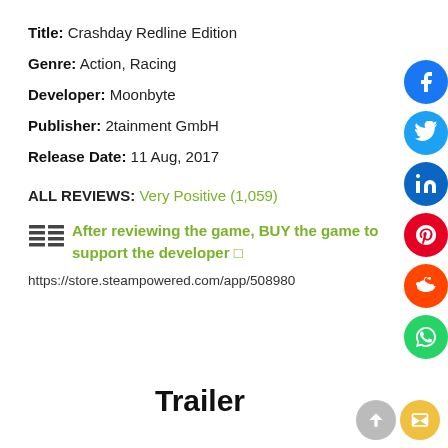Title: Crashday Redline Edition
Genre: Action, Racing
Developer: Moonbyte
Publisher: 2tainment GmbH
Release Date: 11 Aug, 2017
ALL REVIEWS: Very Positive (1,059)
After reviewing the game, BUY the game to support the developer 🎮
https://store.steampowered.com/app/508980
Trailer